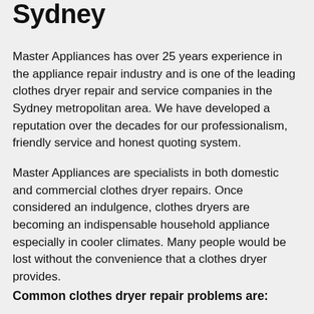Sydney
Master Appliances has over 25 years experience in the appliance repair industry and is one of the leading clothes dryer repair and service companies in the Sydney metropolitan area. We have developed a reputation over the decades for our professionalism, friendly service and honest quoting system.
Master Appliances are specialists in both domestic and commercial clothes dryer repairs. Once considered an indulgence, clothes dryers are becoming an indispensable household appliance especially in cooler climates. Many people would be lost without the convenience that a clothes dryer provides.
Common clothes dryer repair problems are: